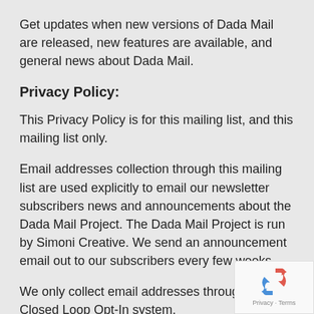Get updates when new versions of Dada Mail are released, new features are available, and general news about Dada Mail.
Privacy Policy:
This Privacy Policy is for this mailing list, and this mailing list only.
Email addresses collection through this mailing list are used explicitly to email our newsletter subscribers news and announcements about the Dada Mail Project. The Dada Mail Project is run by Simoni Creative. We send an announcement email out to our subscribers every few weeks.
We only collect email addresses through our Closed Loop Opt-In system.
[Figure (logo): reCAPTCHA badge with icon and Privacy - Terms text]